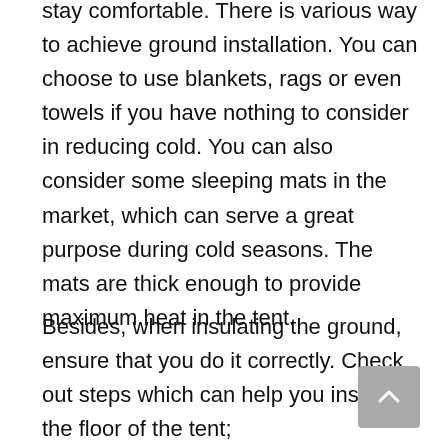stay comfortable. There is various way to achieve ground installation. You can choose to use blankets, rags or even towels if you have nothing to consider in reducing cold. You can also consider some sleeping mats in the market, which can serve a great purpose during cold seasons. The mats are thick enough to provide maximum heat in the tent.
Besides, when insulating the ground, ensure that you do it correctly. Check out steps which can help you insulate the floor of the tent;